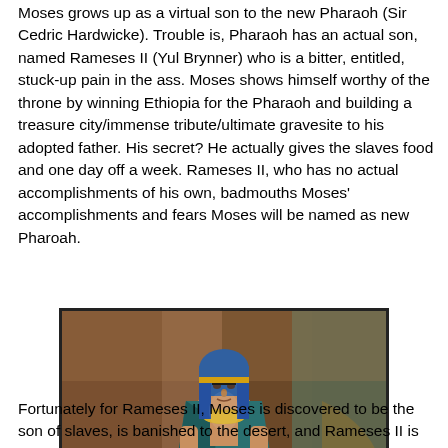Moses grows up as a virtual son to the new Pharaoh (Sir Cedric Hardwicke). Trouble is, Pharaoh has an actual son, named Rameses II (Yul Brynner) who is a bitter, entitled, stuck-up pain in the ass. Moses shows himself worthy of the throne by winning Ethiopia for the Pharaoh and building a treasure city/immense tribute/ultimate gravesite to his adopted father. His secret? He actually gives the slaves food and one day off a week. Rameses II, who has no actual accomplishments of his own, badmouths Moses' accomplishments and fears Moses will be named as new Pharoah.
[Figure (photo): A scene from a film showing a man dressed as an ancient Egyptian pharaoh wearing a blue headdress and teal/green robe with gold jewelry, sitting in what appears to be a richly decorated throne room or chamber with warm brown drapery in the background.]
Fortunately for Rameses II, Moses is discovered to be the son of slaves, is banished to the desert, and Rameses II is